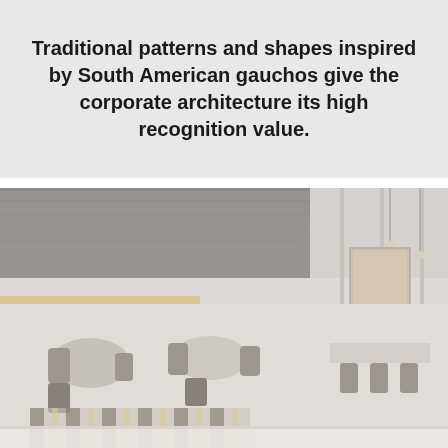Traditional patterns and shapes inspired by South American gauchos give the corporate architecture its high recognition value.
[Figure (photo): Interior of a modern restaurant with dark ceiling panels, tables and chairs set for dining, pendant lights, and a striped rug on the floor. The image has a light, washed-out tone.]